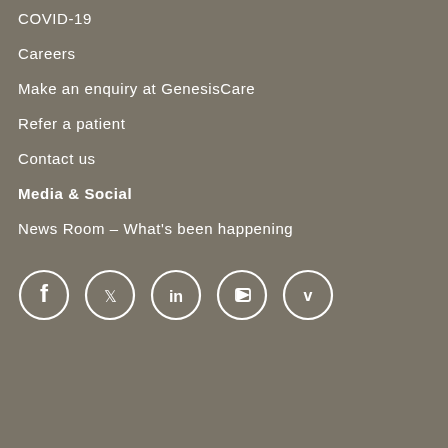COVID-19
Careers
Make an enquiry at GenesisCare
Refer a patient
Contact us
Media & Social
News Room – What's been happening
[Figure (infographic): Row of five social media icons in circles: Facebook, Twitter, LinkedIn, YouTube, Vimeo]